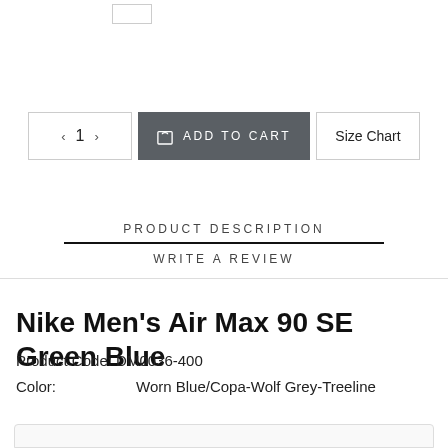[Figure (other): Small rectangle outline at top, partial UI element]
< 1 >   ADD TO CART   Size Chart
PRODUCT DESCRIPTION
WRITE A REVIEW
Nike Men's Air Max 90 SE Green Blue
Product Code: DM0036-400
Color:          Worn Blue/Copa-Wolf Grey-Treeline